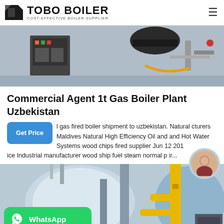[Figure (logo): TOBO BOILER logo with icon and tagline COST-EFFECTIVE BOILER SUPPLIER]
[Figure (photo): Industrial boiler equipment photo showing machinery and control panels]
Commercial Agent 1t Gas Boiler Plant Uzbekistan
l gas fired boiler shipment to uzbekistan. Natural cturers Maldives Natural High Efficiency Oil and and Hot Water Systems wood chips fired supplier Jun 12 201 ice Industrial manufacturer wood ship fuel steam normal p ir...
[Figure (photo): Industrial gas boiler plant with yellow pipes and blue cylindrical boilers]
[Figure (other): WhatsApp contact button with green background]